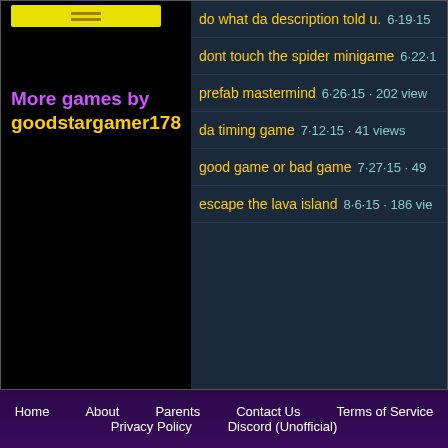[Figure (screenshot): Thumbnail image placeholder with yellow bar]
More games by goodstargamer178
do what da description told u.  6·19·15
dont touch the spider minigame  6·22·1
prefab mastermind  6·26·15 · 202 views
da timing game  7·12·15 · 41 views
good game or bad game  7·27·15 · 49
escape the lava island  8·6·15 · 186 vie
Home   About   Parents   Contact Us   Terms of Service   Privacy Policy   Discord (Unofficial)